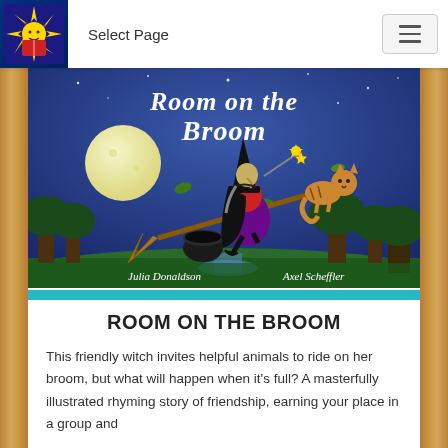Select Page
[Figure (illustration): Book cover of 'Room on the Broom' by Julia Donaldson and Axel Scheffler. Shows a witch riding a broom with a cat, flying over a night landscape with a full moon. Text at top reads 'Room on the Broom'. Authors names at bottom: Julia Donaldson and Axel Scheffler.]
ROOM ON THE BROOM
This friendly witch invites helpful animals to ride on her broom, but what will happen when it's full? A masterfully illustrated rhyming story of friendship, earning your place in a group and